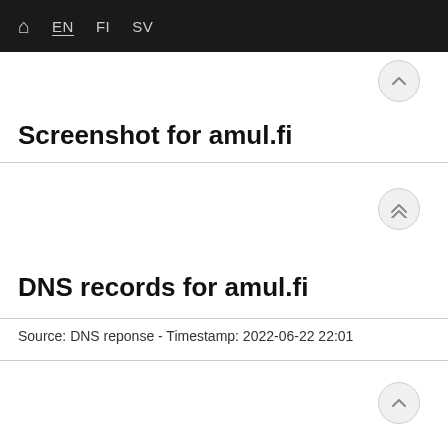⌂  EN  FI  SV
Screenshot for amul.fi
DNS records for amul.fi
Source: DNS reponse - Timestamp: 2022-06-22 22:01